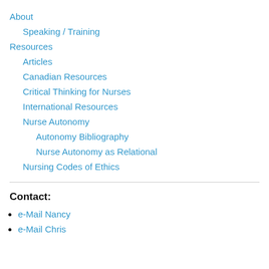About
Speaking / Training
Resources
Articles
Canadian Resources
Critical Thinking for Nurses
International Resources
Nurse Autonomy
Autonomy Bibliography
Nurse Autonomy as Relational
Nursing Codes of Ethics
Contact:
e-Mail Nancy
e-Mail Chris